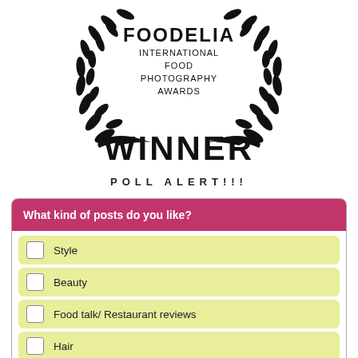[Figure (logo): Foodelia International Food Photography Awards winner laurel wreath logo with the word WINNER in bold below]
POLL ALERT!!!
What kind of posts do you like?
Style
Beauty
Food talk/ Restaurant reviews
Hair
Random Experiences
Guest Posts